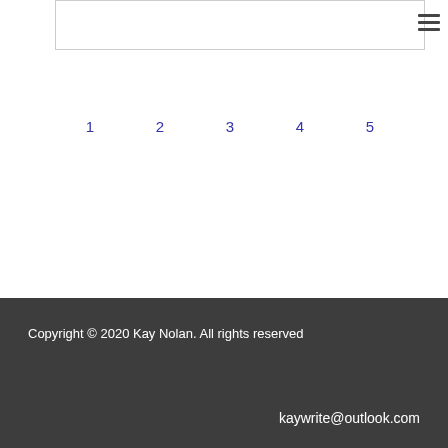1  2  3  4  5
Copyright © 2020 Kay Nolan. All rights reserved
kaywrite@outlook.com